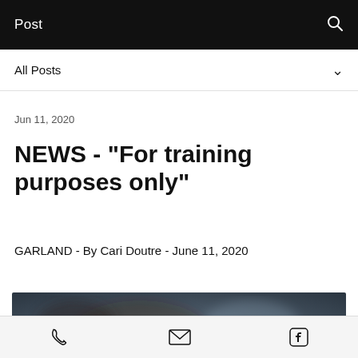Post
All Posts
Jun 11, 2020
NEWS - "For training purposes only"
GARLAND - By Cari Doutre - June 11, 2020
[Figure (photo): Blurred dark photograph, appears to show a person or scene with dark and reddish-brown tones against a blue background]
Phone, Email, Facebook icons